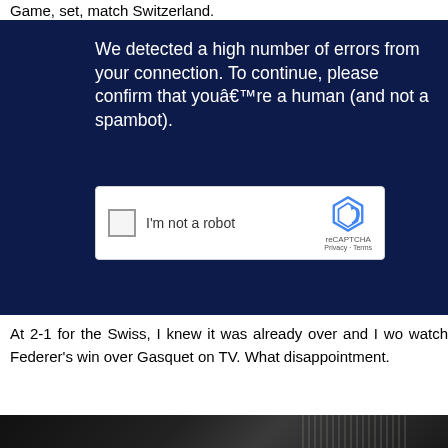Game, set, match Switzerland.
[Figure (screenshot): reCAPTCHA widget on a dark navy blue background with message: We detected a high number of errors from your connection. To continue, please confirm that youâ€™re a human (and not a spambot). Shows checkbox 'I'm not a robot' with reCAPTCHA logo, Privacy and Terms links.]
At 2-1 for the Swiss, I knew it was already over and I wo watch Federer’s win over Gasquet on TV. What disappointment.
[Figure (photo): Dark photograph, partially visible at bottom of page, appears to show a dark indoor or outdoor scene.]